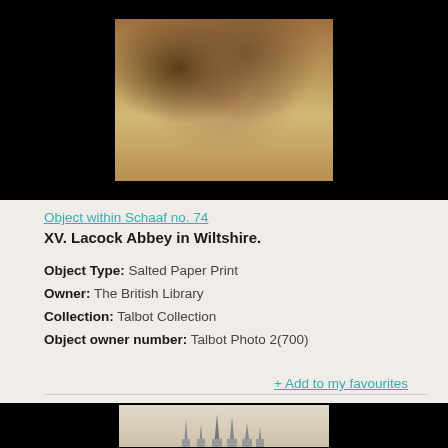[Figure (photo): Sepia-toned photograph of a landscape with water reflection, trees, and a bridge or structure, displayed on black background]
Object within Schaaf no. 74
XV. Lacock Abbey in Wiltshire.
Object Type: Salted Paper Print
Owner: The British Library
Collection: Talbot Collection
Object owner number: Talbot Photo 2(700)
+ Add to my favourites
[Figure (photo): Sepia/pale photograph showing ornate architectural spires or towers of a building, displayed on black background, partially cropped]